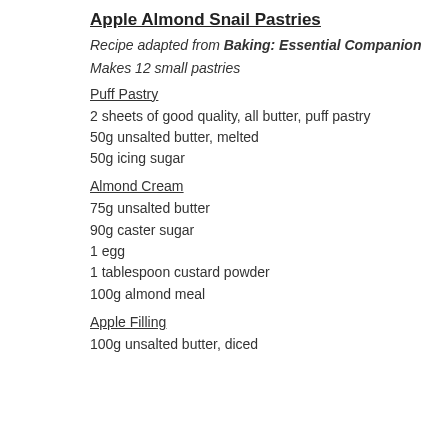Apple Almond Snail Pastries
Recipe adapted from Baking: Essential Companion
Makes 12 small pastries
Puff Pastry
2 sheets of good quality, all butter, puff pastry
50g unsalted butter, melted
50g icing sugar
Almond Cream
75g unsalted butter
90g caster sugar
1 egg
1 tablespoon custard powder
100g almond meal
Apple Filling
100g unsalted butter, diced